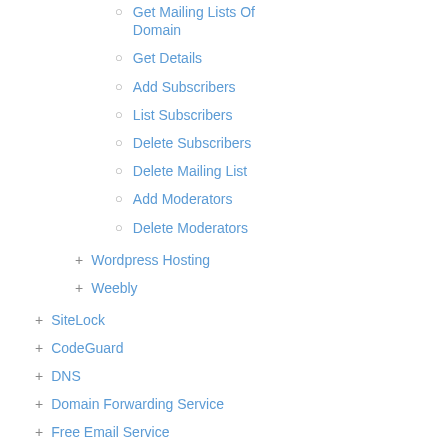Get Mailing Lists Of Domain
Get Details
Add Subscribers
List Subscribers
Delete Subscribers
Delete Mailing List
Add Moderators
Delete Moderators
Wordpress Hosting
Weebly
SiteLock
CodeGuard
DNS
Domain Forwarding Service
Free Email Service
SSL Certificates
G Suite